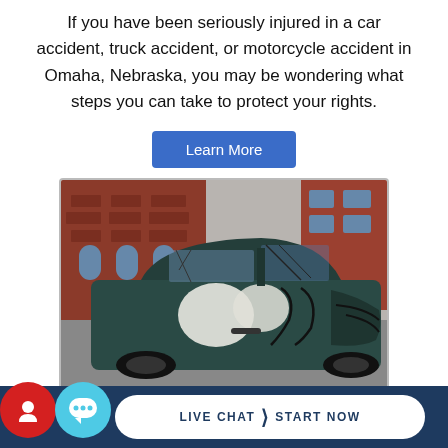If you have been seriously injured in a car accident, truck accident, or motorcycle accident in Omaha, Nebraska, you may be wondering what steps you can take to protect your rights.
[Figure (other): Blue 'Learn More' button]
[Figure (photo): Photograph of a severely damaged dark-colored car with deployed airbags and a crushed door, taken in an urban setting with a brick building in the background.]
[Figure (other): Dark blue bottom bar with a red circle icon on the left, a light blue chat bubble icon with ellipsis, and a white pill-shaped button reading 'LIVE CHAT > START NOW']